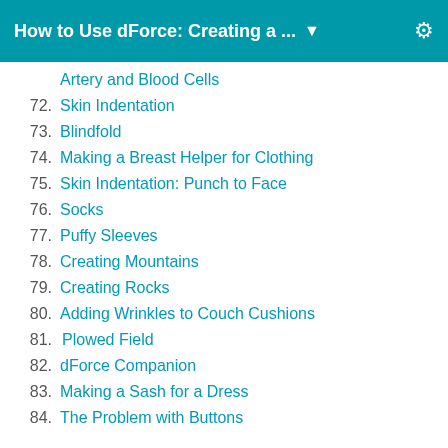How to Use dForce: Creating a ... ▼
Artery and Blood Cells
72. Skin Indentation
73. Blindfold
74. Making a Breast Helper for Clothing
75. Skin Indentation: Punch to Face
76. Socks
77. Puffy Sleeves
78. Creating Mountains
79. Creating Rocks
80. Adding Wrinkles to Couch Cushions
81. Plowed Field
82. dForce Companion
83. Making a Sash for a Dress
84. The Problem with Buttons